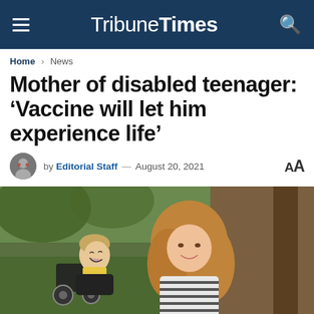Tribune Times
Home > News
Mother of disabled teenager: 'Vaccine will let him experience life'
by Editorial Staff — August 20, 2021
[Figure (photo): A teenage boy in a wheelchair laughing with his head tilted back, alongside a woman with long blonde-brown hair smiling close to him, outdoors with trees and grass in the background.]